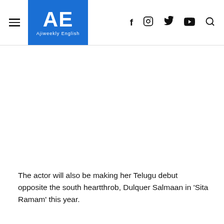AE Ajiweekly English — navigation header with hamburger menu, logo, and social icons (f, Instagram, Twitter, YouTube, Search)
The actor will also be making her Telugu debut opposite the south heartthrob, Dulquer Salmaan in 'Sita Ramam' this year.
Mrunal says, "I want to work in all the genres possible and do